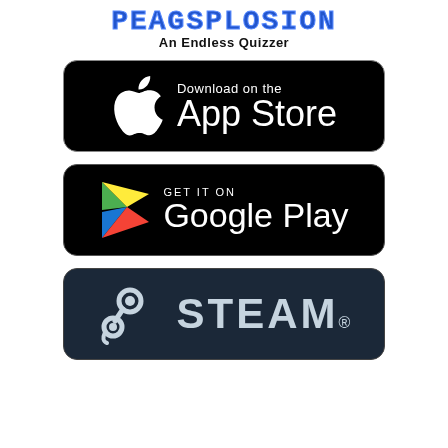PEAGSPLOSION An Endless Quizzer
[Figure (logo): Download on the App Store badge - black rounded rectangle with Apple logo and white text]
[Figure (logo): Get it on Google Play badge - black rounded rectangle with Google Play triangle logo and white text]
[Figure (logo): Steam badge - dark navy rounded rectangle with Steam logo and STEAM text in grey]